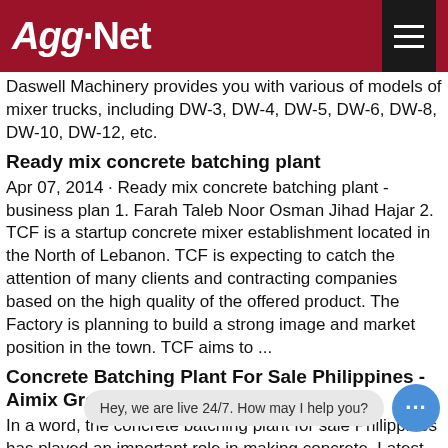Agg-Net
Daswell Machinery provides you with various of models of mixer trucks, including DW-3, DW-4, DW-5, DW-6, DW-8, DW-10, DW-12, etc.
Ready mix concrete batching plant
Apr 07, 2014 · Ready mix concrete batching plant - business plan 1. Farah Taleb Noor Osman Jihad Hajar 2. TCF is a startup concrete mixer establishment located in the North of Lebanon. TCF is expecting to catch the attention of many clients and contracting companies based on the high quality of the offered product. The Factory is planning to build a strong image and market position in the town. TCF aims to ...
Concrete Batching Plant For Sale Philippines - Aimix Group-An
In a word, the concrete batching plant for sale Philippines has played an important role in making concrete. Latest News – AJ-50 Stationary Concrete Plant Successfully installed in the Philippines AJ-50 concrete plant is installed in Davao, Philippines Different Models, Different Times, Our Batch* Plants In Philippines ... self loading buy and sell concrete forming knucklebo*m c**e ha**th**n*a*t*nt